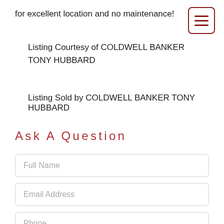for excellent location and no maintenance!
Listing Courtesy of COLDWELL BANKER TONY HUBBARD
Listing Sold by COLDWELL BANKER TONY HUBBARD
Ask A Question
Full Name
Email Address
Phone
I would like to know more about 230 Mohawk Road Minneola FL 34715